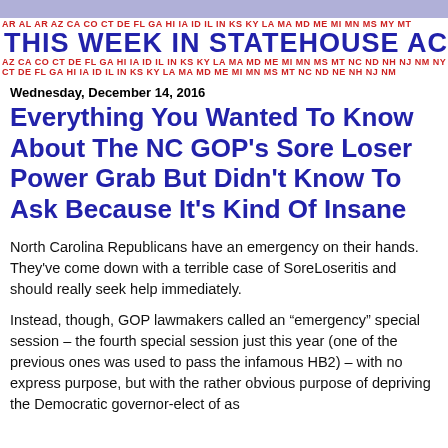THIS WEEK IN STATEHOUSE ACTION
Wednesday, December 14, 2016
Everything You Wanted To Know About The NC GOP's Sore Loser Power Grab But Didn't Know To Ask Because It's Kind Of Insane
North Carolina Republicans have an emergency on their hands. They've come down with a terrible case of SoreLoseritis and should really seek help immediately.
Instead, though, GOP lawmakers called an “emergency” special session – the fourth special session just this year (one of the previous ones was used to pass the infamous HB2) – with no express purpose, but with the rather obvious purpose of depriving the Democratic governor-elect of as